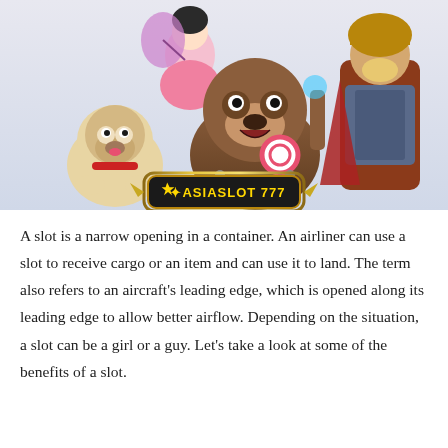[Figure (illustration): Colorful casino slot game promotional illustration featuring animated characters: a pug dog, a large brown bear holding a lollipop, an Asian fairy/dancer in pink, and a warrior/viking character. A golden badge with 'ASIASLOT 777' logo is displayed at the bottom center.]
A slot is a narrow opening in a container. An airliner can use a slot to receive cargo or an item and can use it to land. The term also refers to an aircraft's leading edge, which is opened along its leading edge to allow better airflow. Depending on the situation, a slot can be a girl or a guy. Let's take a look at some of the benefits of a slot.